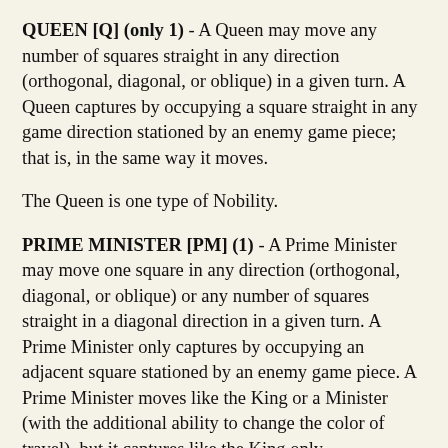QUEEN [Q] (only 1) - A Queen may move any number of squares straight in any direction (orthogonal, diagonal, or oblique) in a given turn. A Queen captures by occupying a square straight in any game direction stationed by an enemy game piece; that is, in the same way it moves.
The Queen is one type of Nobility.
PRIME MINISTER [PM] (1) - A Prime Minister may move one square in any direction (orthogonal, diagonal, or oblique) or any number of squares straight in a diagonal direction in a given turn. A Prime Minister only captures by occupying an adjacent square stationed by an enemy game piece. A Prime Minister moves like the King or a Minister (with the additional ability to change the color of travel), but it captures like the King only.
MINISTER [M] (2) - A Minister may move any number of squares straight in a diagonal direction in a given turn. A Minister captures by occupying a diagonal square rtstioned by an enemy game piece; that is, in the same